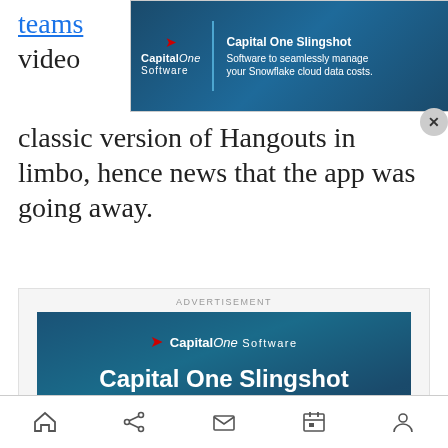teams video classic version of Hangouts in limbo, hence news that the app was going away.
[Figure (screenshot): Capital One Software Slingshot banner advertisement — dark blue background with Capital One Software logo (red swoosh), vertical divider line, headline 'Capital One Slingshot', and text 'Software to seamlessly manage your Snowflake cloud data costs.' with a close (X) button.]
[Figure (screenshot): Capital One Software Slingshot full advertisement block with label 'ADVERTISEMENT', dark blue gradient background, Capital One Software logo with red swoosh, large white headline 'Capital One Slingshot', teal horizontal divider, tagline 'Software to seamlessly manage your Snowflake cloud data costs.', and white 'Learn more' button.]
Browser navigation bar with home, share, mail, calendar, and profile icons.